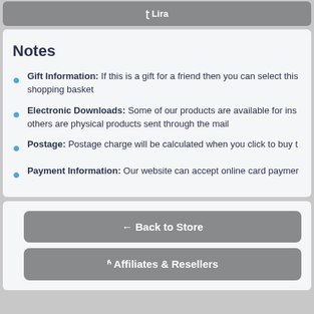ʈ Lira
Notes
Gift Information: If this is a gift for a friend then you can select this shopping basket
Electronic Downloads: Some of our products are available for ins others are physical products sent through the mail
Postage: Postage charge will be calculated when you click to buy t
Payment Information: Our website can accept online card paymer
← Back to Store
ʱ Affiliates & Resellers